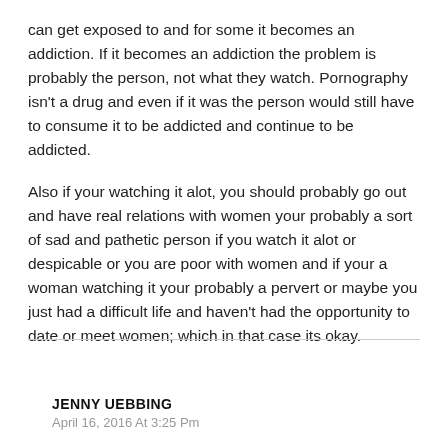can get exposed to and for some it becomes an addiction. If it becomes an addiction the problem is probably the person, not what they watch. Pornography isn't a drug and even if it was the person would still have to consume it to be addicted and continue to be addicted.
Also if your watching it alot, you should probably go out and have real relations with women your probably a sort of sad and pathetic person if you watch it alot or despicable or you are poor with women and if your a woman watching it your probably a pervert or maybe you just had a difficult life and haven't had the opportunity to date or meet women; which in that case its okay.
JENNY UEBBING
April 16, 2016 At 3:25 Pm